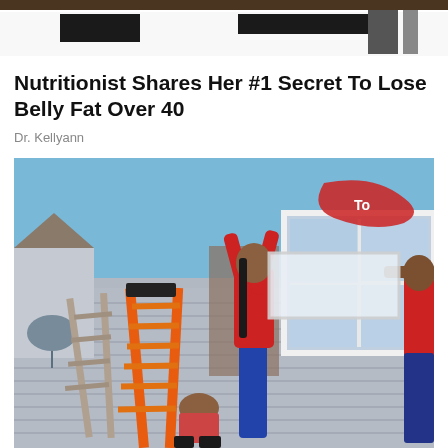[Figure (photo): Top cropped photo showing partial view of a scene with dark bar and white band on top]
Nutritionist Shares Her #1 Secret To Lose Belly Fat Over 40
Dr. Kellyann
[Figure (photo): Photo of workers installing a window on the exterior of a house. A person in a red shirt is on a ladder reaching up to hold a white window frame. An orange A-frame ladder is visible in the foreground. The house has gray siding. Another person is crouching below and another person is visible on the right edge.]